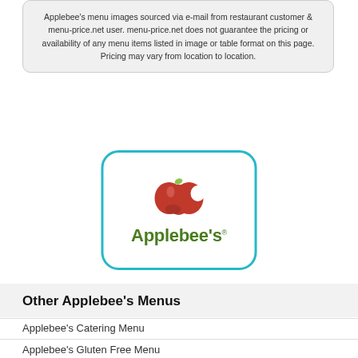Applebee's menu images sourced via e-mail from restaurant customer & menu-price.net user. menu-price.net does not guarantee the pricing or availability of any menu items listed in image or table format on this page. Pricing may vary from location to location.
[Figure (logo): Applebee's logo: red apple with yellow leaf above green 'Applebee's' text, inside a rounded rectangle with teal border]
Other Applebee's Menus
Applebee's Catering Menu
Applebee's Gluten Free Menu